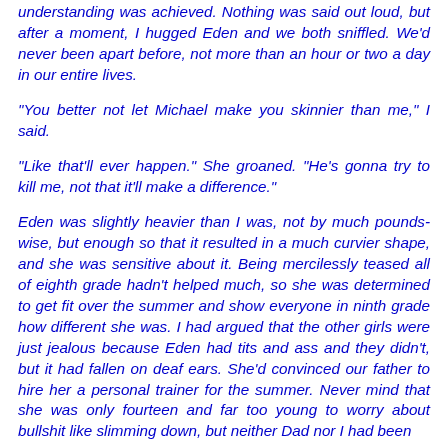understanding was achieved. Nothing was said out loud, but after a moment, I hugged Eden and we both sniffled. We'd never been apart before, not more than an hour or two a day in our entire lives.
“You better not let Michael make you skinnier than me,” I said.
“Like that’ll ever happen.” She groaned. “He’s gonna try to kill me, not that it’ll make a difference.”
Eden was slightly heavier than I was, not by much pounds-wise, but enough so that it resulted in a much curvier shape, and she was sensitive about it. Being mercilessly teased all of eighth grade hadn’t helped much, so she was determined to get fit over the summer and show everyone in ninth grade how different she was. I had argued that the other girls were just jealous because Eden had tits and ass and they didn’t, but it had fallen on deaf ears. She’d convinced our father to hire her a personal trainer for the summer. Never mind that she was only fourteen and far too young to worry about bullshit like slimming down, but neither Dad nor I had been able to change Eden’s mind.